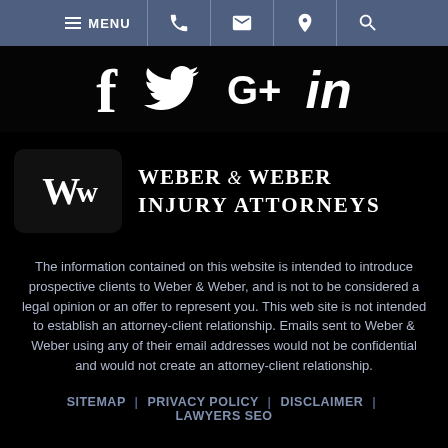MENU (navigation bar with phone, email, location, search icons)
[Figure (logo): Social media icons: Facebook (f), Twitter (bird), Google+ (G+), LinkedIn (in)]
[Figure (logo): Weber & Weber Injury Attorneys logo with WW monogram in dark rounded rectangle]
The information contained on this website is intended to introduce prospective clients to Weber & Weber, and is not to be considered a legal opinion or an offer to represent you. This web site is not intended to establish an attorney-client relationship. Emails sent to Weber & Weber using any of their email addresses would not be confidential and would not create an attorney-client relationship.
SITEMAP | PRIVACY POLICY | DISCLAIMER | LAWYERS SEO